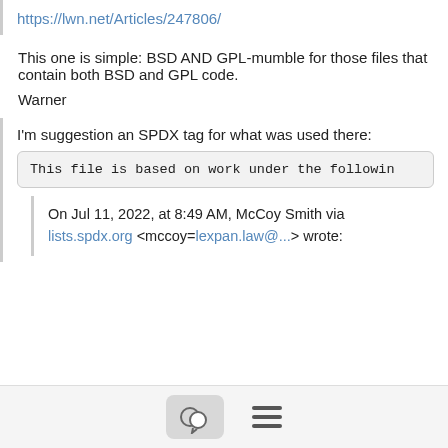https://lwn.net/Articles/247806/
This one is simple: BSD AND GPL-mumble for those files that contain both BSD and GPL code.
Warner
I'm suggestion an SPDX tag for what was used there:
This file is based on work under the followin
On Jul 11, 2022, at 8:49 AM, McCoy Smith via lists.spdx.org <mccoy=lexpan.law@...> wrote: